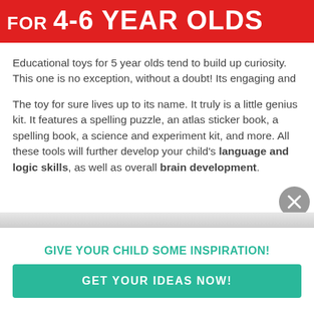FOR 4-6 YEAR OLDS
Educational toys for 5 year olds tend to build up curiosity. This one is no exception, without a doubt! Its engaging and
The toy for sure lives up to its name. It truly is a little genius kit. It features a spelling puzzle, an atlas sticker book, a spelling book, a science and experiment kit, and more. All these tools will further develop your child's language and logic skills, as well as overall brain development.
GIVE YOUR CHILD SOME INSPIRATION!
GET YOUR IDEAS NOW!